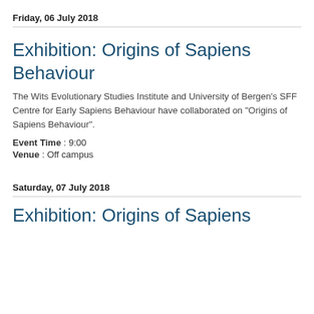Friday, 06 July 2018
Exhibition: Origins of Sapiens Behaviour
The Wits Evolutionary Studies Institute and University of Bergen's SFF Centre for Early Sapiens Behaviour have collaborated on "Origins of Sapiens Behaviour".
Event Time : 9:00
Venue : Off campus
Saturday, 07 July 2018
Exhibition: Origins of Sapiens